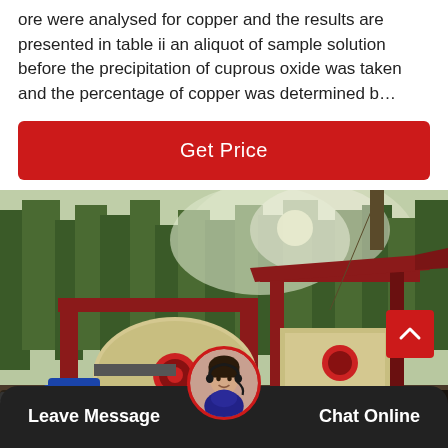ore were analysed for copper and the results are presented in table ii an aliquot of sample solution before the precipitation of cuprous oxide was taken and the percentage of copper was determined b…
Get Price
[Figure (photo): Industrial hammer mill / crusher machine on an outdoor site with trees in background. Large red-framed machine with beige drum and blue electric motor.]
Leave Message
Chat Online